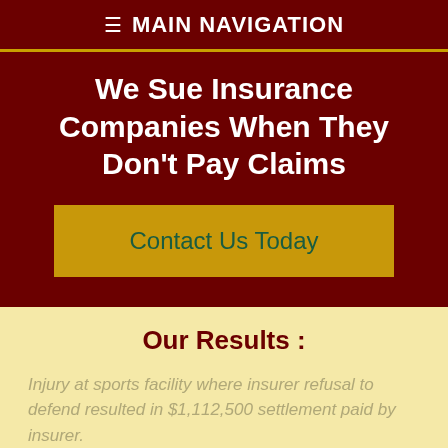≡ MAIN NAVIGATION
We Sue Insurance Companies When They Don't Pay Claims
Contact Us Today
Our Results :
Injury at sports facility where insurer refusal to defend resulted in $1,112,500 settlement paid by insurer.